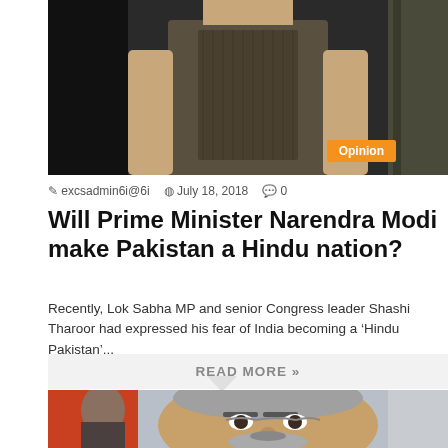[Figure (photo): Photo of a man in a grey vest/jacket standing near a doorway, partially visible from chest down]
excsadmin6i@6i  July 18, 2018  0
Will Prime Minister Narendra Modi make Pakistan a Hindu nation?
Recently, Lok Sabha MP and senior Congress leader Shashi Tharoor had expressed his fear of India becoming a ‘Hindu Pakistan’...
READ MORE »
[Figure (photo): Close-up photo of Narendra Modi with grey hair and beard, wearing glasses, looking forward]